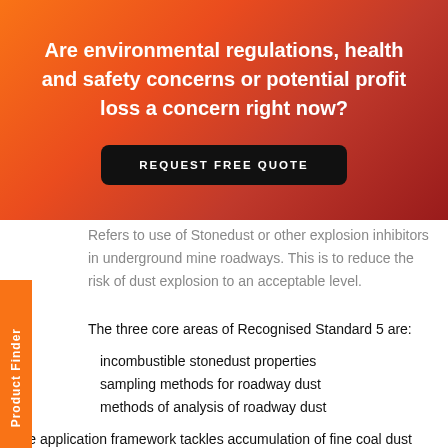Are environmental regulations, health and safety concerns or potential profit loss a concern right now?
REQUEST FREE QUOTE
Refers to use of Stonedust or other explosion inhibitors in underground mine roadways. This is to reduce the risk of dust explosion to an acceptable level.
The three core areas of Recognised Standard 5 are:
incombustible stonedust properties
sampling methods for roadway dust
methods of analysis of roadway dust
The application framework tackles accumulation of fine coal dust within underground mine roadways. Coal dust has the potential to start explosions in underground workings. Dust in the roadways is an ignition source which can cause dust buoyancy in the atmosphere. A chain reaction